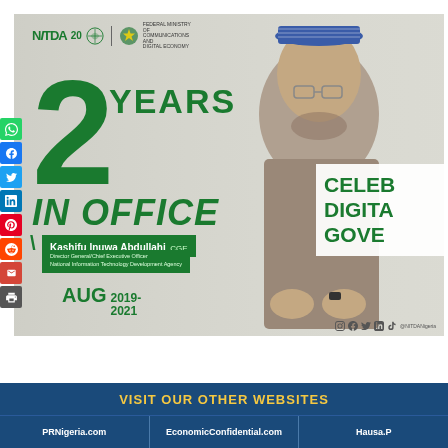[Figure (photo): NITDA promotional banner showing Kashifu Inuwa Abdullahi, DG/CEO, celebrating 2 Years in Office (Aug 2019-2021). Large green text '2 YEARS IN OFFICE' on grey background. White overlay box with partial text 'CELEB DIGITA GOVE'. NITDA and Federal Ministry logos at top left. Social media sharing icons on left sidebar.]
| PRNigeria.com | EconomicConfidential.com | Hausa... |
| --- | --- | --- |
| VISIT OUR OTHER WEBSITES |  |  |